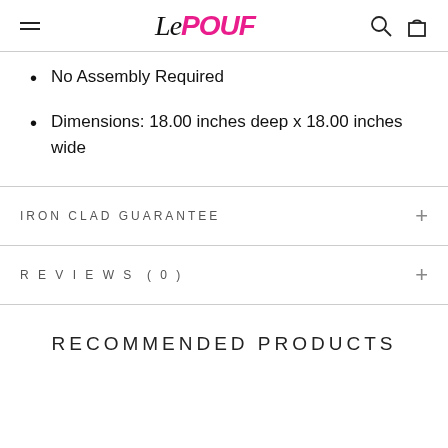Le POUF
No Assembly Required
Dimensions: 18.00 inches deep x 18.00 inches wide
IRON CLAD GUARANTEE
REVIEWS (0)
RECOMMENDED PRODUCTS